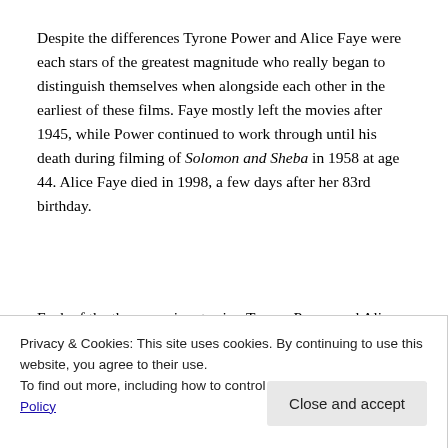Despite the differences Tyrone Power and Alice Faye were each stars of the greatest magnitude who really began to distinguish themselves when alongside each other in the earliest of these films. Faye mostly left the movies after 1945, while Power continued to work through until his death during filming of Solomon and Sheba in 1958 at age 44. Alice Faye died in 1998, a few days after her 83rd birthday.
Each of the three movies starring Tyrone Power and Alice
Privacy & Cookies: This site uses cookies. By continuing to use this website, you agree to their use. To find out more, including how to control cookies, see here: Privacy Policy
Close and accept